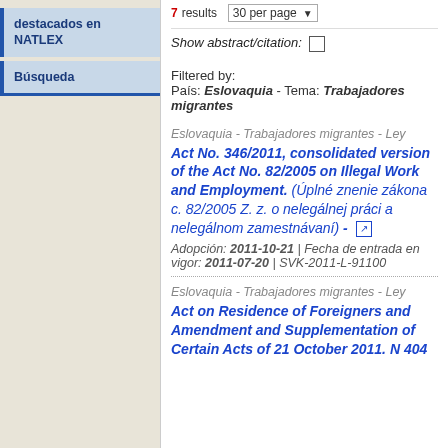destacados en NATLEX
Búsqueda
7 results  30 per page
Show abstract/citation: ☐
Filtered by: País: Eslovaquia - Tema: Trabajadores migrantes
Eslovaquia - Trabajadores migrantes - Ley
Act No. 346/2011, consolidated version of the Act No. 82/2005 on Illegal Work and Employment. (Úplné znenie zákona c. 82/2005 Z. z. o nelegálnej práci a nelegálnom zamestnávaní) - [external link]
Adopción: 2011-10-21 | Fecha de entrada en vigor: 2011-07-20 | SVK-2011-L-91100
Eslovaquia - Trabajadores migrantes - Ley
Act on Residence of Foreigners and Amendment and Supplementation of Certain Acts of 21 October 2011. N 404